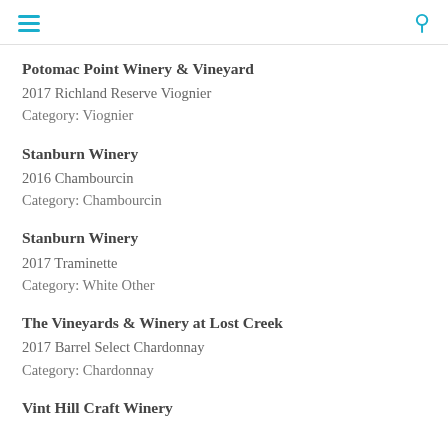[hamburger menu] [search icon]
Potomac Point Winery & Vineyard
2017 Richland Reserve Viognier
Category: Viognier
Stanburn Winery
2016 Chambourcin
Category: Chambourcin
Stanburn Winery
2017 Traminette
Category: White Other
The Vineyards & Winery at Lost Creek
2017 Barrel Select Chardonnay
Category: Chardonnay
Vint Hill Craft Winery